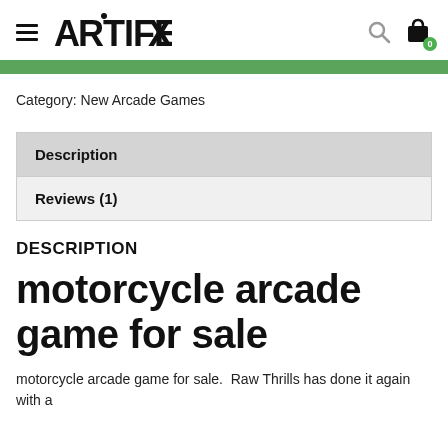ARTIFEX
Category: New Arcade Games
Description
Reviews (1)
DESCRIPTION
motorcycle arcade game for sale
motorcycle arcade game for sale.  Raw Thrills has done it again with a